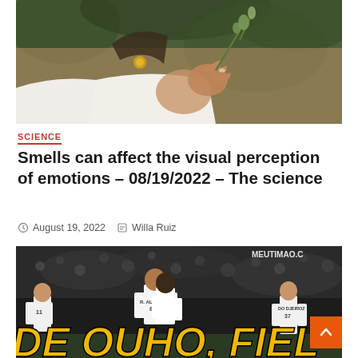[Figure (photo): Close-up of a person smelling a rose bud, wearing a white jacket and gold earring, with green foliage in background]
SCIENCE
Smells can affect the visual perception of emotions – 08/19/2022 – The science
August 19, 2022   Willa Ruiz
[Figure (photo): Football players in white Corinthians jerseys on a stadium pitch, one player wearing jersey number 8 (R. Augusto) and another with SPAN text, crowd in background. Watermark: MEUTIMAO.C. Badge overlay: 1 min read. Large yellow italic text at bottom partially visible.]